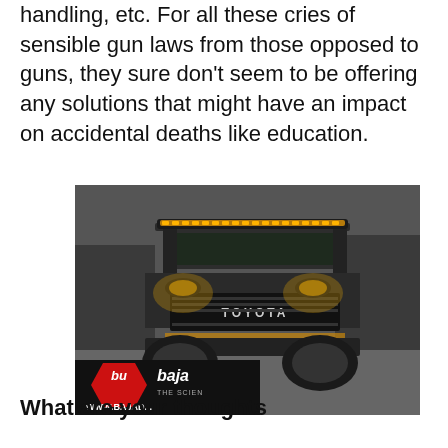handling, etc. For all these cries of sensible gun laws from those opposed to guns, they sure don't seem to be offering any solutions that might have an impact on accidental deaths like education.
[Figure (photo): A modified Toyota 4Runner SUV with a roof-mounted LED light bar, bright headlights, and a Baja Designs advertisement overlay at the bottom. A video player overlay appears in the lower right showing 'FAST DRILL: CAR — Uh oh, something went wrong' message with playback controls at 0:00.]
What are your thoughts